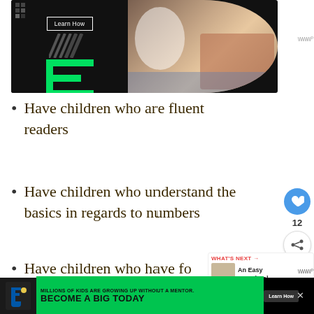[Figure (screenshot): Advertisement banner with black background, green E logo, 'Learn How' button, and photo of adult and child working on robotics project]
Have children who are fluent readers
Have children who understand the basics in regards to numbers
Have children who have fo[rmed a] basic foundation for writing
[Figure (screenshot): Bottom advertisement: Big Brothers Big Sisters - MILLIONS OF KIDS ARE GROWING UP WITHOUT A MENTOR. BECOME A BIG TODAY. Learn How button.]